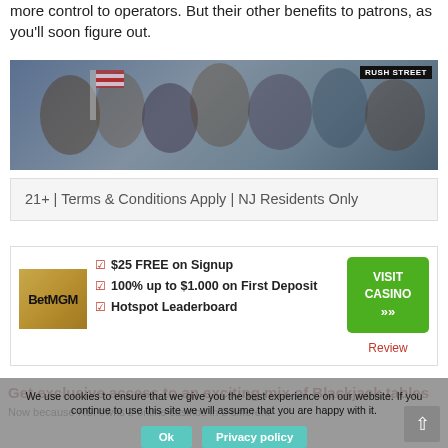more control to operators. But their other benefits to patrons, as you'll soon figure out.
[Figure (photo): Group of people celebrating, with a Rush Street logo badge in the top right corner.]
21+ | Terms & Conditions Apply | NJ Residents Only
✓ $25 FREE on Signup
✓ 100% up to $1.000 on First Deposit
✓ Hotspot Leaderboard
[Figure (logo): BetMGM casino logo in gold/bronze colors]
VISIT CASINO »»
Review
Get exclusive access to an exciting mix of Blackjack tables
We use cookies to ensure that we give you the best experience on our website. If you continue to use this site we will assume that you are happy with it.
Ok
Privacy policy
Now because RSI owns 2 online casinos in 2 different